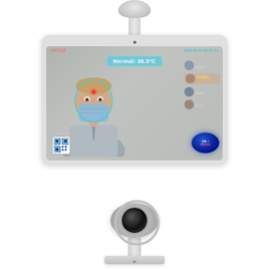[Figure (photo): Thermal temperature screening kiosk device with a tablet display showing a masked person with face detection overlay reading 'Normal: 36.3°C', with face recognition thumbnails on the right, a QR code bottom left, and a dark blue action button. Below is a separate thermal/infrared camera unit mounted on a stand with a base.]